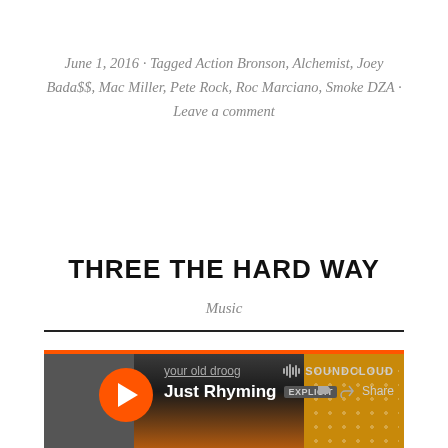June 1, 2016 · Tagged Action Bronson, Alchemist, Joey Bada$$, Mac Miller, Pete Rock, Roc Marciano, Smoke DZA · Leave a comment
THREE THE HARD WAY
Music
[Figure (screenshot): SoundCloud embedded player showing 'Just Rhyming' by your old droog, with orange play button, orange top bar, SoundCloud logo, and Share button. Dark background with album artwork visible.]